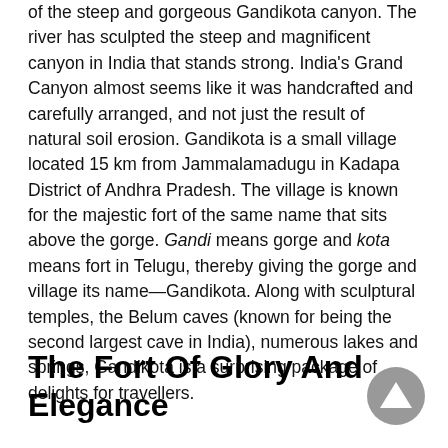of the steep and gorgeous Gandikota canyon. The river has sculpted the steep and magnificent canyon in India that stands strong. India's Grand Canyon almost seems like it was handcrafted and carefully arranged, and not just the result of natural soil erosion. Gandikota is a small village located 15 km from Jammalamadugu in Kadapa District of Andhra Pradesh. The village is known for the majestic fort of the same name that sits above the gorge. Gandi means gorge and kota means fort in Telugu, thereby giving the gorge and village its name—Gandikota. Along with sculptural temples, the Belum caves (known for being the second largest cave in India), numerous lakes and springs, Gandikota is a surprising package of delights for travellers.
The Fort Of Glory And Elegance
[Figure (other): A circular grey scroll-to-top button with an upward-pointing triangle arrow, positioned in the bottom-right corner.]